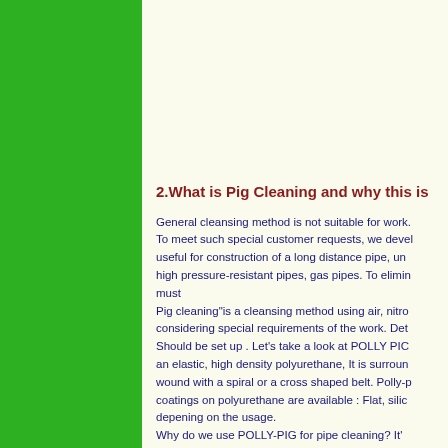2.What is Pig Cleaning and why this is
General cleansing method is not suitable for work. To meet such special customer requests, we devel useful for construction of a long distance pipe, un high pressure-resistant pipes, gas pipes. To elimin must Pig cleaning"is a cleansing method using air, nitro considering special requirements of the work. Det Should be set up . Let's take a look at POLLY PIG an elastic, high density polyurethane, It is surroun wound with a spiral or a cross shaped belt. Polly-p coatings on polyurethane are available : Flat, silic depening on the usage. Why do we use POLLY-PIG for pipe cleaning? It'